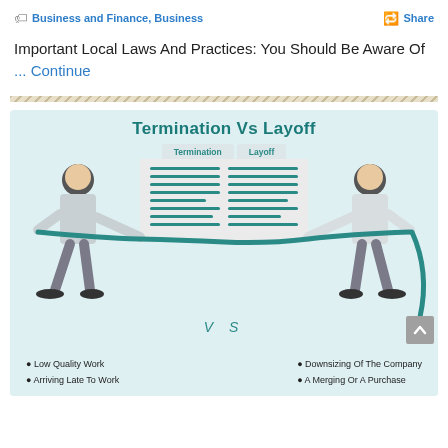Business and Finance, Business  Share
Important Local Laws And Practices: You Should Be Aware Of ... Continue
[Figure (infographic): Infographic comparing Termination Vs Layoff, showing two figures in a tug-of-war over a document split into Termination and Layoff sections. Bullet points below: Low Quality Work, Arriving Late To Work (Termination side); Downsizing Of The Company, A Merging Or A Purchase (Layoff side).]